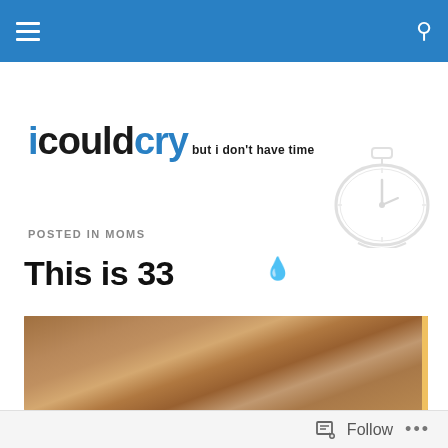Navigation bar with menu and search icons
[Figure (logo): icouldcry blog logo with text 'icouldcry but i don't have time' and a water drop emoji, with a pocket watch illustration to the right]
POSTED IN MOMS
This is 33
[Figure (photo): Close-up photo of a person's head/hair, cropped at the top of the frame]
Follow ...